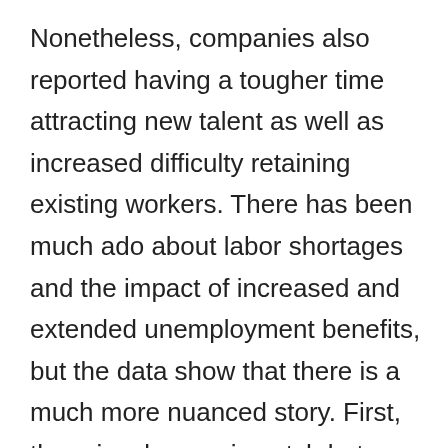Nonetheless, companies also reported having a tougher time attracting new talent as well as increased difficulty retaining existing workers. There has been much ado about labor shortages and the impact of increased and extended unemployment benefits, but the data show that there is a much more nuanced story. First, there is a large mismatch between the talent in-demand and the talent available to work. As of May (most recently available data at time of writing), there were 104,400 people unemployed in the San Diego region and more than 115,000 job openings.